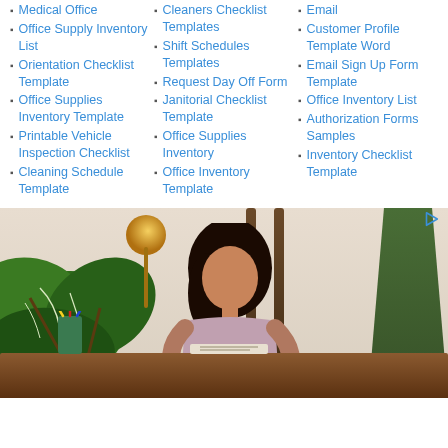Medical Office
Office Supply Inventory List
Orientation Checklist Template
Office Supplies Inventory Template
Printable Vehicle Inspection Checklist
Cleaning Schedule Template
Cleaners Checklist Templates
Shift Schedules Templates
Request Day Off Form
Janitorial Checklist Template
Office Supplies Inventory
Office Inventory Template
Email
Customer Profile Template Word
Email Sign Up Form Template
Office Inventory List
Authorization Forms Samples
Inventory Checklist Template
[Figure (photo): Woman sitting at a desk writing, surrounded by indoor plants including monstera leaves, a golden lamp, and a wooden ladder shelf in the background. Home office setting.]